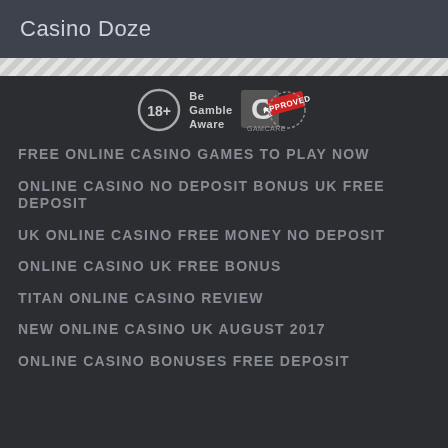Casino Doze
[Figure (logo): 18+ badge, Be Gamble Aware logo, GamCare Approved logo]
FREE ONLINE CASINO GAMES TO PLAY NOW
ONLINE CASINO NO DEPOSIT BONUS UK FREE DEPOSIT
UK ONLINE CASINO FREE MONEY NO DEPOSIT
ONLINE CASINO UK FREE BONUS
TITAN ONLINE CASINO REVIEW
NEW ONLINE CASINO UK AUGUST 2017
ONLINE CASINO BONUSES FREE DEPOSIT